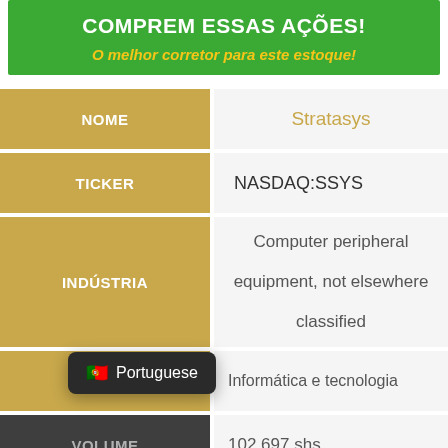COMPREM ESSAS AÇÕES!
O melhor corretor para este estoque!
| Campo | Valor |
| --- | --- |
| NOME | Stratasys |
| TICKER | NASDAQ:SSYS |
| INDÚSTRIA | Computer peripheral equipment, not elsewhere classified |
| SECTOR | Informática e tecnologia |
| VOLUME | 102,697 shs |
| CO... | Melhor corretor para este |